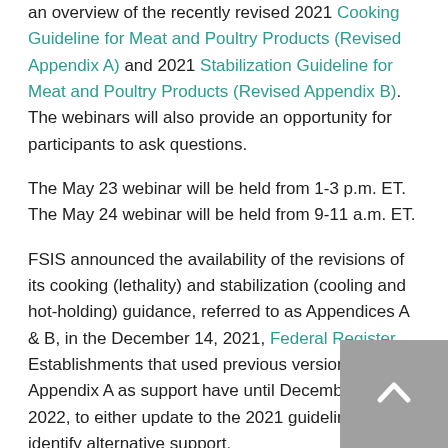an overview of the recently revised 2021 Cooking Guideline for Meat and Poultry Products (Revised Appendix A) and 2021 Stabilization Guideline for Meat and Poultry Products (Revised Appendix B). The webinars will also provide an opportunity for participants to ask questions.
The May 23 webinar will be held from 1-3 p.m. ET. The May 24 webinar will be held from 9-11 a.m. ET.
FSIS announced the availability of the revisions of its cooking (lethality) and stabilization (cooling and hot-holding) guidance, referred to as Appendices A & B, in the December 14, 2021, Federal Register. Establishments that used previous versions of Appendix A as support have until December 14, 2022, to either update to the 2021 guidelines or identify alternative support.
Pre-registration for the webinars is not required. Recordings of